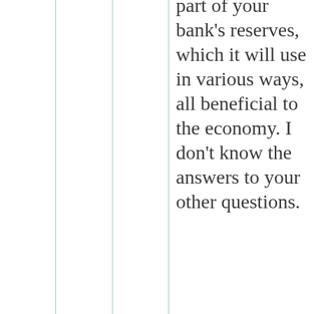part of your bank's reserves, which it will use in various ways, all beneficial to the economy. I don't know the answers to your other questions.